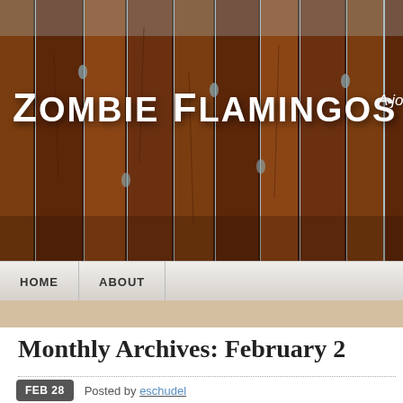[Figure (photo): Website header banner showing wooden fence/bamboo background with warm brown tones. Site title 'Zombie Flamingos' in large white bold text, and partial subtitle 'A jou...' visible on the right.]
Zombie Flamingos
HOME  ABOUT
Monthly Archives: February 2...
February Flowers
FEB 28  Posted by eschudel